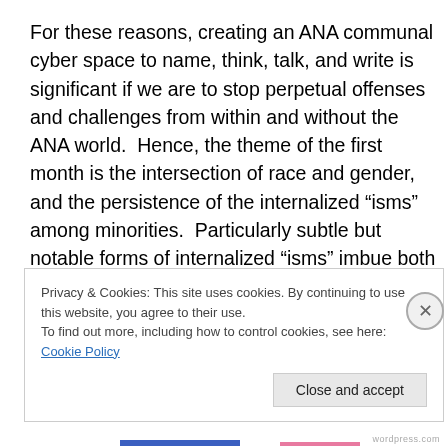For these reasons, creating an ANA communal cyber space to name, think, talk, and write is significant if we are to stop perpetual offenses and challenges from within and without the ANA world.  Hence, the theme of the first month is the intersection of race and gender, and the persistence of the internalized “isms” among minorities.  Particularly subtle but notable forms of internalized “isms” imbue both academic and ecclesial settings.   For example, in academia, minority scholars of both genders often find it necessary to assimilate to white knowledge in
Privacy & Cookies: This site uses cookies. By continuing to use this website, you agree to their use.
To find out more, including how to control cookies, see here: Cookie Policy
Close and accept